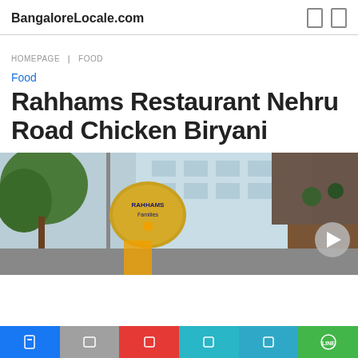BangaloreLocale.com
HOMEPAGE ❯ FOOD
Food
Rahhams Restaurant Nehru Road Chicken Biryani
[Figure (photo): Exterior view of Rahhams Restaurant with signage showing 'Rahhams Families' and a building in the background]
Social share bar: Facebook, Twitter, Google+, social icons